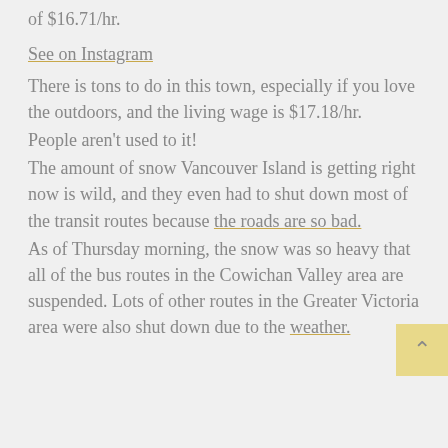of $16.71/hr.
See on Instagram
There is tons to do in this town, especially if you love the outdoors, and the living wage is $17.18/hr.
People aren't used to it!
The amount of snow Vancouver Island is getting right now is wild, and they even had to shut down most of the transit routes because the roads are so bad.
As of Thursday morning, the snow was so heavy that all of the bus routes in the Cowichan Valley area are suspended. Lots of other routes in the Greater Victoria area were also shut down due to the weather.